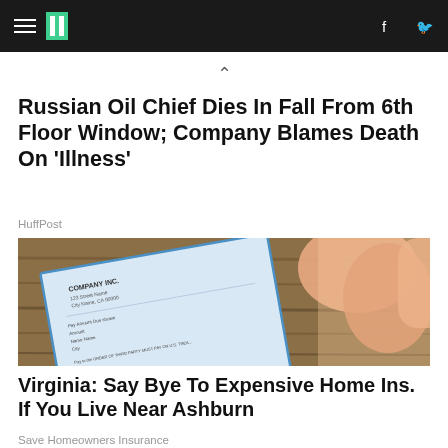HuffPost navigation header with hamburger menu, logo, Facebook and Twitter icons
Russian Oil Chief Dies In Fall From 6th Floor Window; Company Blames Death On 'Illness'
HuffPost
[Figure (photo): A hand holding a document labeled COMPANY INC. with address and form fields visible, placed on a wooden surface]
Virginia: Say Bye To Expensive Home Ins. If You Live Near Ashburn
Save Homeowners Insurance